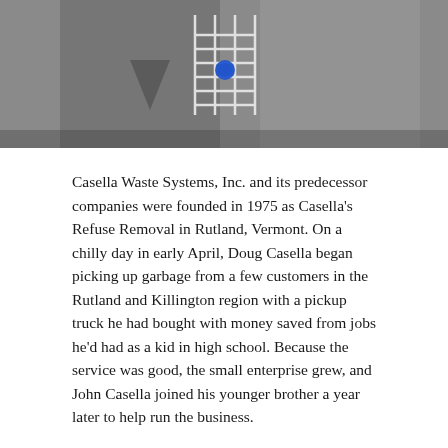[Figure (photo): Black and white photograph of two people, with a grid/sign visible in the background featuring a blue circle dot]
Casella Waste Systems, Inc. and its predecessor companies were founded in 1975 as Casella's Refuse Removal in Rutland, Vermont. On a chilly day in early April, Doug Casella began picking up garbage from a few customers in the Rutland and Killington region with a pickup truck he had bought with money saved from jobs he'd had as a kid in high school. Because the service was good, the small enterprise grew, and John Casella joined his younger brother a year later to help run the business.
The brothers, influenced not only by that unique spirit of New England frugality, could also see the future – and in 1977 built the company's first, and the state's first, recycling facility in Vermont. It was an inspired vision, one that anticipated the opportunities around resource renewal as well as viewing waste management as an integrated set of services – collection,